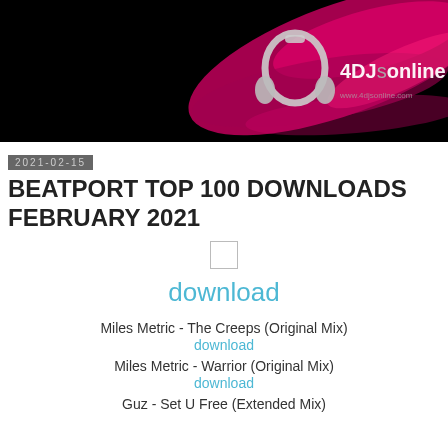[Figure (photo): 4DJsonline website banner header with dark background, pink/magenta abstract swirls, and silver headphone logo with '4DJsonline' text in white]
2021-02-15
BEATPORT TOP 100 DOWNLOADS FEBRUARY 2021
download
Miles Metric - The Creeps (Original Mix)
download
Miles Metric - Warrior (Original Mix)
download
Guz - Set U Free (Extended Mix)